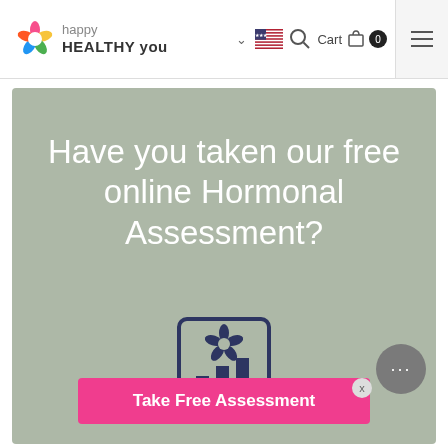[Figure (logo): happy HEALTHY you flower logo in the navbar]
happy HEALTHY you — Cart 0
Have you taken our free online Hormonal Assessment?
[Figure (illustration): Icon of a report/assessment card with a flower on top and bar charts below, inside a rounded rectangle border]
Take Free Assessment
TAKE IT NOW!!